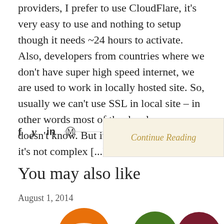providers, I prefer to use CloudFlare, it's very easy to use and nothing to setup though it needs ~24 hours to activate. Also, developers from countries where we don't have super high speed internet, we are used to work in locally hosted site. So, usually we can't use SSL in local site – in other words most of the developers doesn't know. But it's possible, and even it's not complex [...]
[Figure (other): Social sharing icons (Facebook, Twitter, LinkedIn, Pinterest) with a Continue Reading button]
You may also like
August 1, 2014
[Figure (illustration): Row of circular logo icons at the bottom: orange circle, green WordPress logo circle, dark red circle]